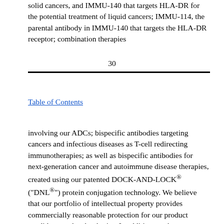solid cancers, and IMMU-140 that targets HLA-DR for the potential treatment of liquid cancers; IMMU-114, the parental antibody in IMMU-140 that targets the HLA-DR receptor; combination therapies
30
Table of Contents
involving our ADCs; bispecific antibodies targeting cancers and infectious diseases as T-cell redirecting immunotherapies; as well as bispecific antibodies for next-generation cancer and autoimmune disease therapies, created using our patented DOCK-AND-LOCK® ("DNL®") protein conjugation technology. We believe that our portfolio of intellectual property provides commercially reasonable protection for our product candidates and technologies. In addition, we have a research collaboration with Bayer to study epratuzumab as a thorium-227-labeled antibody and an ongoing collaboration with an independent cancer study group to evaluate epratuzumab in combination with chemotherapy